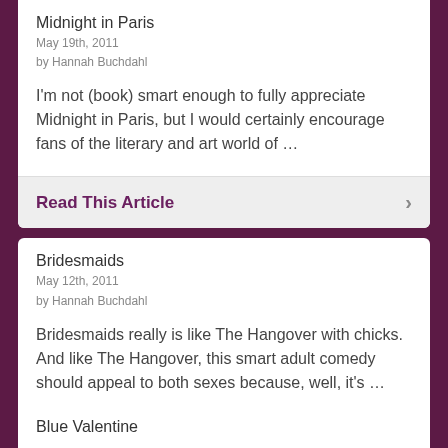Midnight in Paris
May 19th, 2011
by Hannah Buchdahl
I'm not (book) smart enough to fully appreciate Midnight in Paris, but I would certainly encourage fans of the literary and art world of …
Read This Article
Bridesmaids
May 12th, 2011
by Hannah Buchdahl
Bridesmaids really is like The Hangover with chicks. And like The Hangover, this smart adult comedy should appeal to both sexes because, well, it's …
Read This Article
Blue Valentine